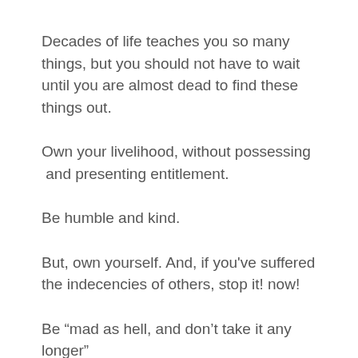Decades of life teaches you so many things, but you should not have to wait until you are almost dead to find these things out.
Own your livelihood, without possessing  and presenting entitlement.
Be humble and kind.
But, own yourself. And, if you've suffered the indecencies of others, stop it! now!
Be “mad as hell, and don’t take it any longer”